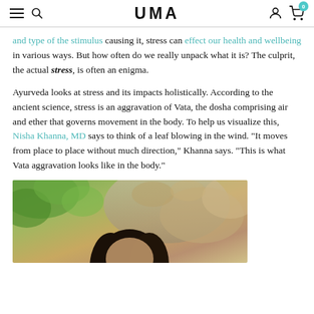UMA
and type of the stimulus causing it, stress can effect our health and wellbeing in various ways. But how often do we really unpack what it is? The culprit, the actual stress, is often an enigma.
Ayurveda looks at stress and its impacts holistically. According to the ancient science, stress is an aggravation of Vata, the dosha comprising air and ether that governs movement in the body. To help us visualize this, Nisha Khanna, MD says to think of a leaf blowing in the wind. "It moves from place to place without much direction," Khanna says. "This is what Vata aggravation looks like in the body."
[Figure (photo): Photo of a person outdoors with greenery and rocky/earthy background, dark hair visible at bottom of frame]